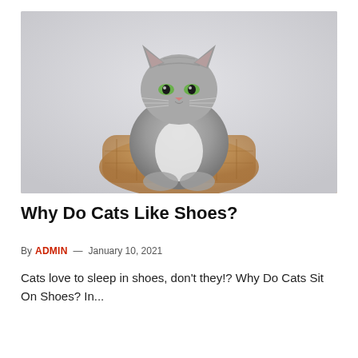[Figure (photo): A grey tabby cat with green eyes sitting upright in a wicker basket chair against a light grey background]
Why Do Cats Like Shoes?
By ADMIN — January 10, 2021
Cats love to sleep in shoes, don't they!? Why Do Cats Sit On Shoes? In...